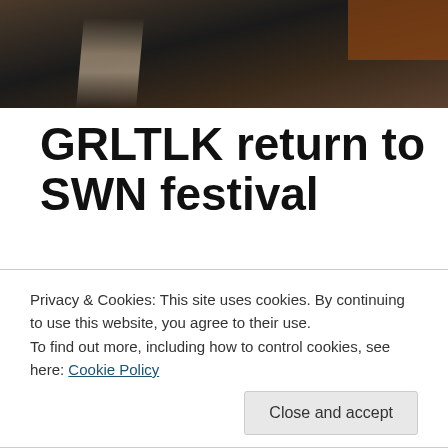[Figure (photo): Dark atmospheric photo showing what appears to be an interior scene with brick wall visible at top right and a light-colored object (possibly a bag or clothing) in the lower left area against a dark background.]
GRLTLK return to SWN festival
Photo credit: Ed Townend Hello! We're GRLTLK, best friends Kay and Stacey; we play records in clubs for people to dance to! We're also Swn veterans, having gone to every single one between us. We've got some special musical memories from Swn over the years, from watching Gallons
Privacy & Cookies: This site uses cookies. By continuing to use this website, you agree to their use.
To find out more, including how to control cookies, see here: Cookie Policy
Close and accept